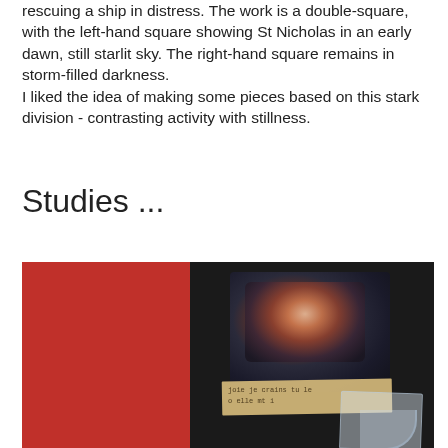rescuing a ship in distress. The work is a double-square, with the left-hand square showing St Nicholas in an early dawn, still starlit sky. The right-hand square remains in storm-filled darkness.
I liked the idea of making some pieces based on this stark division - contrasting activity with stillness.
Studies ...
[Figure (photo): Abstract artwork showing a double-square composition. The left panel is a solid deep red. The right panel is dark/black with a textured collage element featuring mixed reddish-brown and dark tones, a tan paper strip with handwritten text, and a translucent tape or paper strip curling at the bottom right.]